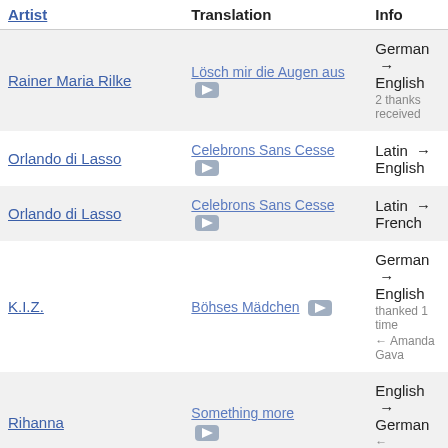| Artist | Translation | Info |
| --- | --- | --- |
| Rainer Maria Rilke | Lösch mir die Augen aus | German → English
2 thanks received |
| Orlando di Lasso | Celebrons Sans Cesse | Latin → English |
| Orlando di Lasso | Celebrons Sans Cesse | Latin → French |
| K.I.Z. | Böhses Mädchen | German → English
thanked 1 time
← Amanda Gava |
| Rihanna | Something more | English → German
← Goldenhaze |
|  | In diesem Dorfe |  |